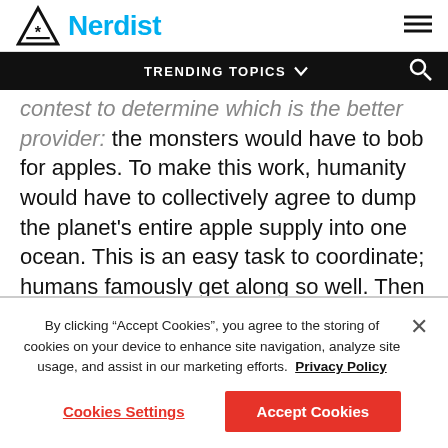Nerdist
TRENDING TOPICS
contest to determine which is the better provider: the monsters would have to bob for apples. To make this work, humanity would have to collectively agree to dump the planet's entire apple supply into one ocean. This is an easy task to coordinate; humans famously get along so well. Then it would be up to Godzilla and Kong to return the apples to the humans.
By clicking “Accept Cookies”, you agree to the storing of cookies on your device to enhance site navigation, analyze site usage, and assist in our marketing efforts. Privacy Policy
Cookies Settings
Accept Cookies